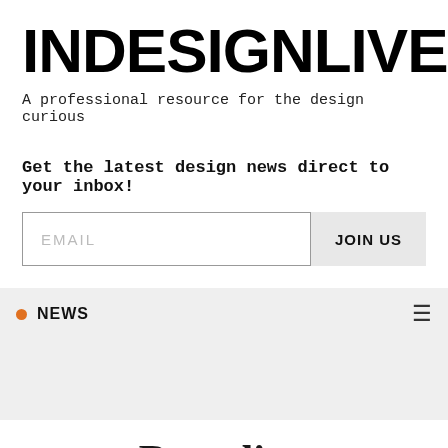INDESIGNLIVE
A professional resource for the design curious
Get the latest design news direct to your inbox!
NEWS
Branding